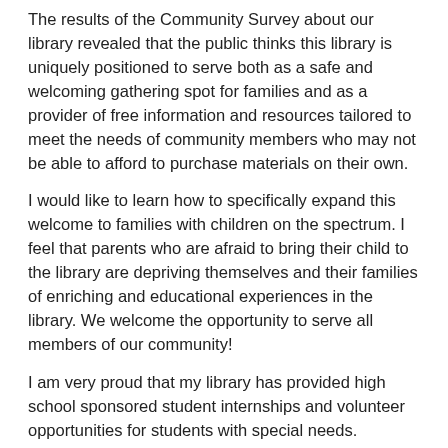The results of the Community Survey about our library revealed that the public thinks this library is uniquely positioned to serve both as a safe and welcoming gathering spot for families and as a provider of free information and resources tailored to meet the needs of community members who may not be able to afford to purchase materials on their own.
I would like to learn how to specifically expand this welcome to families with children on the spectrum. I feel that parents who are afraid to bring their child to the library are depriving themselves and their families of enriching and educational experiences in the library. We welcome the opportunity to serve all members of our community!
I am very proud that my library has provided high school sponsored student internships and volunteer opportunities for students with special needs. Perceptive student worker supervisors have correctly identified our library as an appropriate and nurturing work environment for special needs students. Each of the three students has returned for a second year…providing 6 years of valuable services to our library.
Personally, I have a 5-year-old grandson with Autism. I have